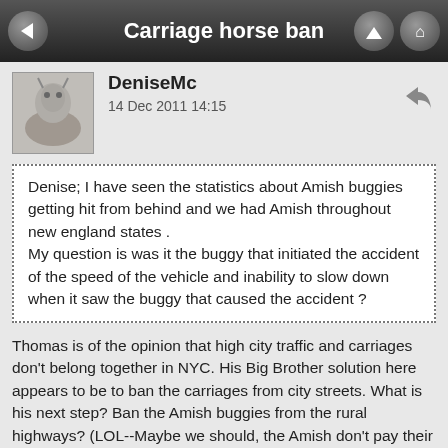Carriage horse ban
DeniseMc
14 Dec 2011 14:15
Denise; I have seen the statistics about Amish buggies getting hit from behind and we had Amish throughout new england states .
My question is was it the buggy that initiated the accident of the speed of the vehicle and inability to slow down when it saw the buggy that caused the accident ?
Thomas is of the opinion that high city traffic and carriages don't belong together in NYC. His Big Brother solution here appears to be to ban the carriages from city streets. What is his next step? Ban the Amish buggies from the rural highways? (LOL--Maybe we should, the Amish don't pay their fair share in highway taxes!) What about accidents that don't involve horses--what about bicycle-car crashes in cities and on rural highways? Ban the bicycle? What about motorcycles-car crashes cause we don't see motorcycles as well? Ban the motorcycle? Solutions from